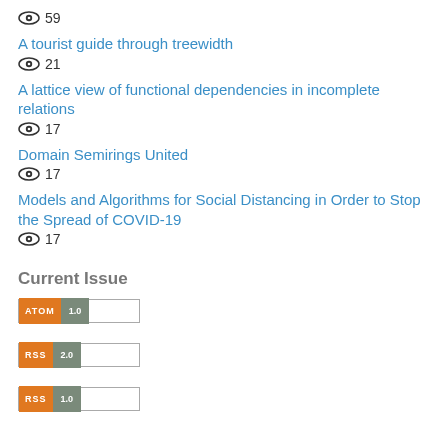👁 59
A tourist guide through treewidth
👁 21
A lattice view of functional dependencies in incomplete relations
👁 17
Domain Semirings United
👁 17
Models and Algorithms for Social Distancing in Order to Stop the Spread of COVID-19
👁 17
Current Issue
[Figure (other): ATOM 1.0 feed badge]
[Figure (other): RSS 2.0 feed badge]
[Figure (other): RSS 1.0 feed badge]